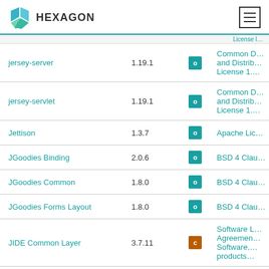HEXAGON
| Name | Version | Type | License |
| --- | --- | --- | --- |
| jersey-server | 1.19.1 | o | Common D... and Distrib... License 1.… |
| jersey-servlet | 1.19.1 | o | Common D... and Distrib... License 1.… |
| Jettison | 1.3.7 | o | Apache Lic… |
| JGoodies Binding | 2.0.6 | o | BSD 4 Clau… |
| JGoodies Common | 1.8.0 | o | BSD 4 Clau… |
| JGoodies Forms Layout | 1.8.0 | o | BSD 4 Clau… |
| JIDE Common Layer | 3.7.11 | c | Software L… Agreemen… Software,… products… |